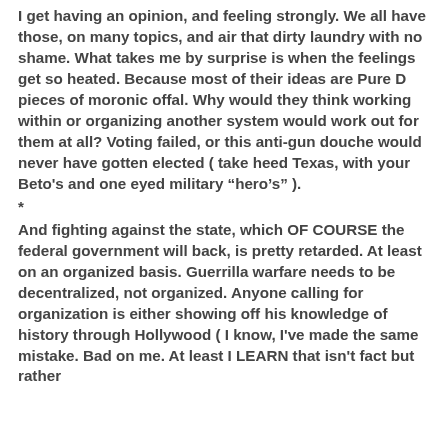I get having an opinion, and feeling strongly. We all have those, on many topics, and air that dirty laundry with no shame. What takes me by surprise is when the feelings get so heated. Because most of their ideas are Pure D pieces of moronic offal. Why would they think working within or organizing another system would work out for them at all? Voting failed, or this anti-gun douche would never have gotten elected ( take heed Texas, with your Beto's and one eyed military “hero's” ).
*
And fighting against the state, which OF COURSE the federal government will back, is pretty retarded. At least on an organized basis. Guerrilla warfare needs to be decentralized, not organized. Anyone calling for organization is either showing off his knowledge of history through Hollywood ( I know, I've made the same mistake. Bad on me. At least I LEARN that isn't fact but rather